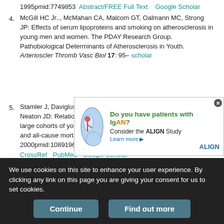1995pmid:7749853 Abstract/FREE Full Text Google Scholar
4. McGill HC Jr.., McMahan CA, Malcom GT, Oalmann MC, Strong JP: Effects of serum lipoproteins and smoking on atherosclerosis in young men and women. The PDAY Research Group. Pathobiological Determinants of Atherosclerosis in Youth. Arterioscler Thromb Vasc Biol 17: 95– [CrossRef] [scholar]
[Figure (infographic): Advertisement banner: Do you have patients with IgAN? Consider the ALIGN Study. Learn more. Close button.]
5. Stamler J, Daviglus ML, Garside DB, Dyer AR, Greenland P, Neaton JD: Relationship of baseline serum cholesterol levels in 3 large cohorts of younger men to long-term coronary, cardiovascular, and all-cause mortality and to longevity. JAMA 284: 311–318, 2000pmid:10891962 CrossRef PubMed Google Scholar
6. Pai JK, Pischon T, Ma J, Manson JE, Hankinson SE, Joshipura K, Curhan GC, Rifai N, Cannuscio CC, Stampfer MJ, Rimm EB: Inflammatory markers and the risk of coronary heart disease in men and women. N Engl J Med 351: 2599–2610, 2004pmid:15602020 CrossRef PubMed
We use cookies on this site to enhance your user experience. By clicking any link on this page you are giving your consent for us to set cookies.